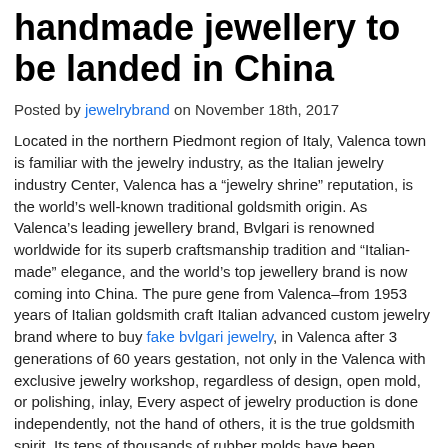handmade jewellery to be landed in China
Posted by jewelrybrand on November 18th, 2017
Located in the northern Piedmont region of Italy, Valenca town is familiar with the jewelry industry, as the Italian jewelry industry Center, Valenca has a “jewelry shrine” reputation, is the world’s well-known traditional goldsmith origin. As Valenca’s leading jewellery brand, Bvlgari is renowned worldwide for its superb craftsmanship tradition and “Italian-made” elegance, and the world’s top jewellery brand is now coming into China. The pure gene from Valenca–from 1953 years of Italian goldsmith craft Italian advanced custom jewelry brand where to buy fake bvlgari jewelry, in Valenca after 3 generations of 60 years gestation, not only in the Valenca with exclusive jewelry workshop, regardless of design, open mold, or polishing, inlay, Every aspect of jewelry production is done independently, not the hand of others, it is the true goldsmith spirit. Its tens of thousands of rubber molds have been archived and saved, tens of thousands of pieces of jewelry design drawings and dozens of hand drawings is the three-generation jewelry through the high-end custom brand core soft assets. These pieces of jewelry not only